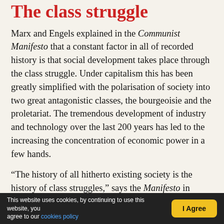The class struggle
Marx and Engels explained in the Communist Manifesto that a constant factor in all of recorded history is that social development takes place through the class struggle. Under capitalism this has been greatly simplified with the polarisation of society into two great antagonistic classes, the bourgeoisie and the proletariat. The tremendous development of industry and technology over the last 200 years has led to the increasing the concentration of economic power in a few hands.
“The history of all hitherto existing society is the history of class struggles,” says the Manifesto in
This website uses cookies, by continuing to use this website, you agree to our cookies policy   I Agree